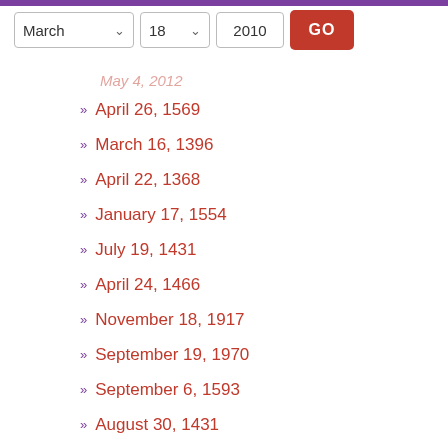[Figure (screenshot): Web UI date selector with dropdowns for month (March), day (18), year (2010), and a red GO button]
April 26, 1569
March 16, 1396
April 22, 1368
January 17, 1554
July 19, 1431
April 24, 1466
November 18, 1917
September 19, 1970
September 6, 1593
August 30, 1431
June 23, 1021
February 1, 1604